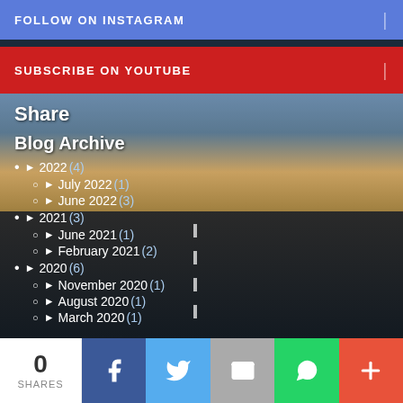FOLLOW ON INSTAGRAM
SUBSCRIBE ON YOUTUBE
Share
Blog Archive
► 2022 (4)
► July 2022 (1)
► June 2022 (3)
► 2021 (3)
► June 2021 (1)
► February 2021 (2)
► 2020 (6)
► November 2020 (1)
► August 2020 (1)
► March 2020 (1)
0 SHARES